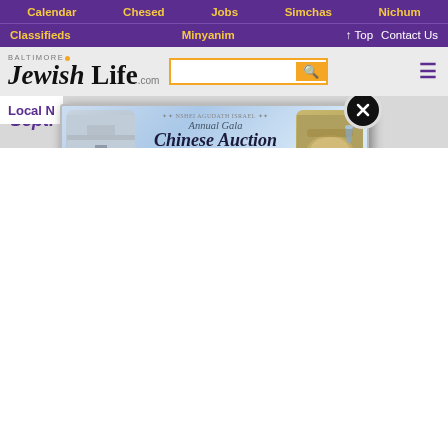Calendar | Chesed | Jobs | Simchas | Nichum
Classifieds | Minyanim | ↑ Top | Contact Us
[Figure (screenshot): Baltimore Jewish Life .com logo with search box and hamburger menu]
Sept. 9
Local N
[Figure (infographic): Annual Gala Chinese Auction popup ad. Over $90,000 in prizes. Sunday, September 11. NSHELAUCTION.COM. Features thumbnail photos of a hall, grocery cart, car, food, children, and a man. Center shows a plane over a crowd. Close button (X) in top right.]
[Figure (photo): Soldiers on a military boat with a mounted machine gun, viewed from behind, gray water and sky background.]